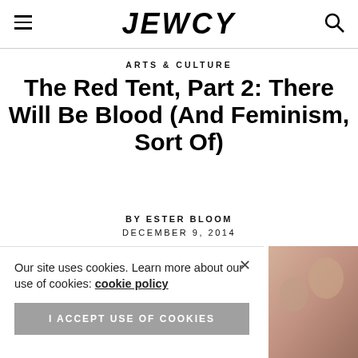JEWCY
ARTS & CULTURE
The Red Tent, Part 2: There Will Be Blood (And Feminism, Sort Of)
BY ESTER BLOOM
DECEMBER 9, 2014
Our site uses cookies. Learn more about our use of cookies: cookie policy
I ACCEPT USE OF COOKIES
[Figure (photo): Partial photo of people visible on right side of page]